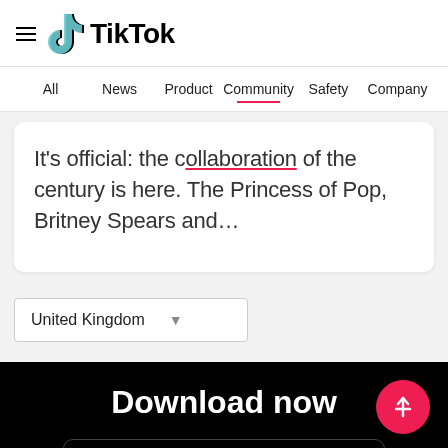[Figure (logo): TikTok logo with hamburger menu icon — musical note icon in cyan/pink and bold TikTok wordmark]
All   News   Product   Community   Safety   Company
It's official: the collaboration of the century is here. The Princess of Pop, Britney Spears and...
United Kingdom
Download now
QR CODE